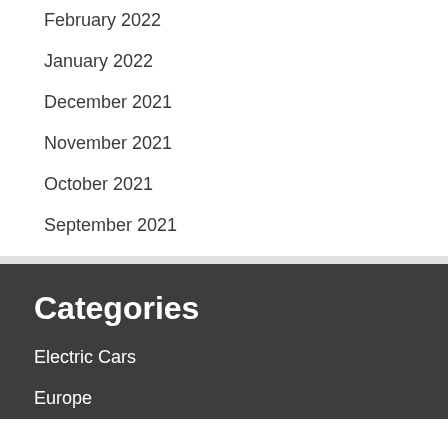February 2022
January 2022
December 2021
November 2021
October 2021
September 2021
Categories
Electric Cars
Europe